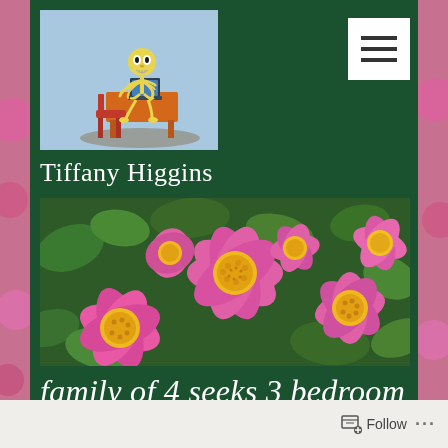[Figure (illustration): Cartoon/child-art illustration of a yellow skeleton figure sitting at an orange desk using a laptop, on a blue background]
Tiffany Higgins
[Figure (photo): Close-up photograph of bright pink wild roses with yellow centers and green leaves against a dark green background]
family of 4 seeks 3 bedroom
Follow ...